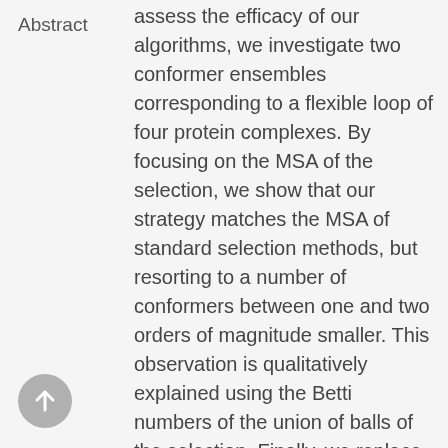Abstract
assess the efficacy of our algorithms, we investigate two conformer ensembles corresponding to a flexible loop of four protein complexes. By focusing on the MSA of the selection, we show that our strategy matches the MSA of standard selection methods, but resorting to a number of conformers between one and two orders of magnitude smaller. This observation is qualitatively explained using the Betti numbers of the union of balls of the selection. Finally, we replace the conformer selection problem in the context of multiple-copy flexible docking. On the aforementioned systems, we show that using the loops selected by our strategy can improve the result of the